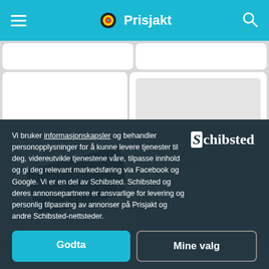Prisjakt
[Figure (screenshot): Product listing page showing two product cards. Left card shows a WD Black NVMe SSD drive. Right card shows a placeholder image icon.]
Vi bruker informasjonskapsler og behandler personopplysninger for å kunne levere tjenester til deg, videreutvikle tjenestene våre, tilpasse innhold og gi deg relevant markedsføring via Facebook og Google. Vi er en del av Schibsted. Schibsted og deres annonsepartnere er ansvarlige for levering og personlig tilpasning av annonser på Prisjakt og andre Schibsted-nettsteder.
Godta
Mine valg